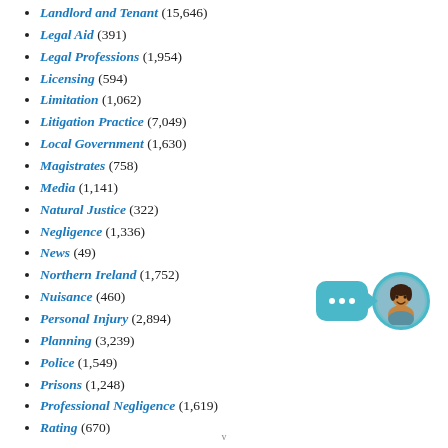Landlord and Tenant (15,646)
Legal Aid (391)
Legal Professions (1,954)
Licensing (594)
Limitation (1,062)
Litigation Practice (7,049)
Local Government (1,630)
Magistrates (758)
Media (1,141)
Natural Justice (322)
Negligence (1,336)
News (49)
Northern Ireland (1,752)
Nuisance (460)
Personal Injury (2,894)
Planning (3,239)
Police (1,549)
Prisons (1,248)
Professional Negligence (1,619)
Rating (670)
[Figure (illustration): Chat widget with teal speech bubble and circular avatar of a woman]